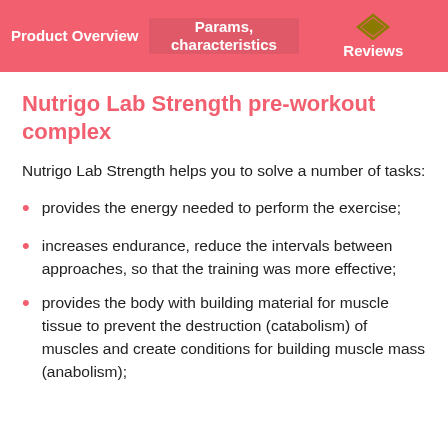Product Overview | Params, characteristics | Reviews
Nutrigo Lab Strength pre-workout complex
Nutrigo Lab Strength helps you to solve a number of tasks:
provides the energy needed to perform the exercise;
increases endurance, reduce the intervals between approaches, so that the training was more effective;
provides the body with building material for muscle tissue to prevent the destruction (catabolism) of muscles and create conditions for building muscle mass (anabolism);